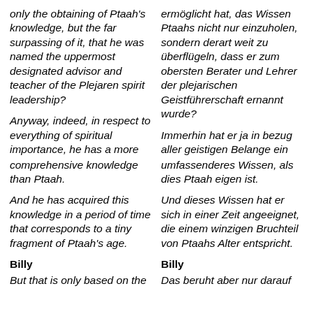only the obtaining of Ptaah's knowledge, but the far surpassing of it, that he was named the uppermost designated advisor and teacher of the Plejaren spirit leadership?
ermöglicht hat, das Wissen Ptaahs nicht nur einzuholen, sondern derart weit zu überflügeln, dass er zum obersten Berater und Lehrer der plejarischen Geistführerschaft ernannt wurde?
Anyway, indeed, in respect to everything of spiritual importance, he has a more comprehensive knowledge than Ptaah.
Immerhin hat er ja in bezug aller geistigen Belange ein umfassenderes Wissen, als dies Ptaah eigen ist.
And he has acquired this knowledge in a period of time that corresponds to a tiny fragment of Ptaah's age.
Und dieses Wissen hat er sich in einer Zeit angeeignet, die einem winzigen Bruchteil von Ptaahs Alter entspricht.
Billy
Billy
But that is only based on the
Das beruht aber nur darauf